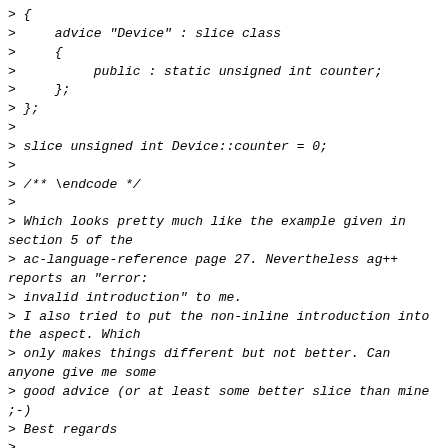> {
>     advice "Device" : slice class
>     {
>          public : static unsigned int counter;
>     };
> };
>
> slice unsigned int Device::counter = 0;
>
> /** \endcode */
>
> Which looks pretty much like the example given in section 5 of the
> ac-language-reference page 27. Nevertheless ag++ reports an "error:
> invalid introduction" to me.
> I also tried to put the non-inline introduction into the aspect. Which
> only makes things different but not better. Can anyone give me some
> good advice (or at least some better slice than mine ;-)
> Best regards
>
> Arnd-Hendrik
>
>
>
> aspectc-user mailing list
> aspectc-user at aspectc.org